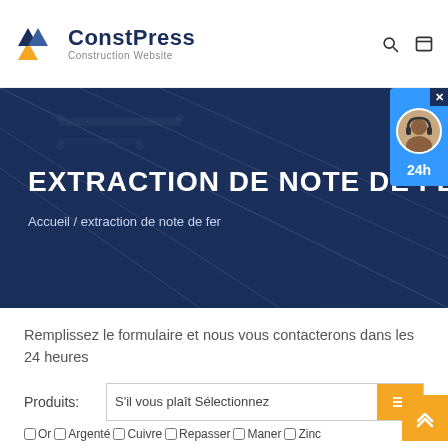[Figure (logo): ConstPress Construction Website logo with geometric triangular icon in blue, yellow, and white]
EXTRACTION DE NOTE DE FER
Accueil / extraction de note de fer
Remplissez le formulaire et nous vous contacterons dans les 24 heures
Produits: S'il vous plaît Sélectionnez
Or Argenté Cuivre Repasser Maner Zinc